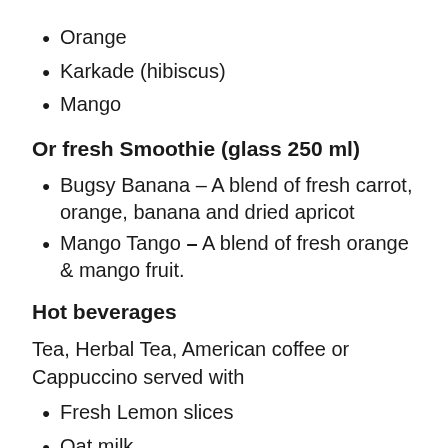Orange
Karkade (hibiscus)
Mango
Or fresh Smoothie (glass 250 ml)
Bugsy Banana – A blend of fresh carrot, orange, banana and dried apricot
Mango Tango – A blend of fresh orange & mango fruit.
Hot beverages
Tea, Herbal Tea, American coffee or Cappuccino served with
Fresh Lemon slices
Oat milk